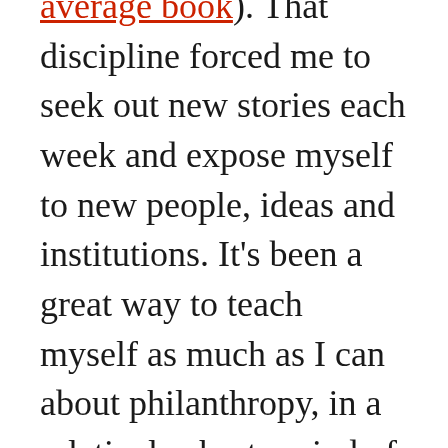average book). That discipline forced me to seek out new stories each week and expose myself to new people, ideas and institutions. It's been a great way to teach myself as much as I can about philanthropy, in a relatively short period of time. On the other hand, the weekly rhythm led me to post stories that could have been reported more deeply or written more carefully. There's a quantity/quality tradeoff in reporting that has been part of my work life since I began writing for newspapers, sometimes churning out two or three stories a day, more than 40 years